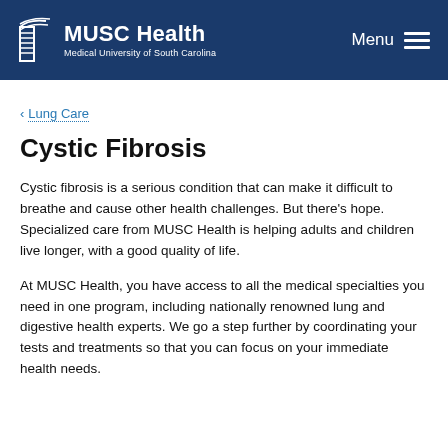MUSC Health Medical University of South Carolina | Menu
< Lung Care
Cystic Fibrosis
Cystic fibrosis is a serious condition that can make it difficult to breathe and cause other health challenges. But there's hope. Specialized care from MUSC Health is helping adults and children live longer, with a good quality of life.
At MUSC Health, you have access to all the medical specialties you need in one program, including nationally renowned lung and digestive health experts. We go a step further by coordinating your tests and treatments so that you can focus on your immediate health needs.